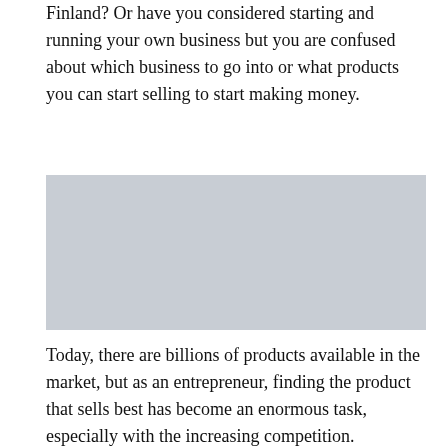Finland? Or have you considered starting and running your own business but you are confused about which business to go into or what products you can start selling to start making money.
[Figure (photo): A grey placeholder image rectangle.]
Today, there are billions of products available in the market, but as an entrepreneur, finding the product that sells best has become an enormous task, especially with the increasing competition.